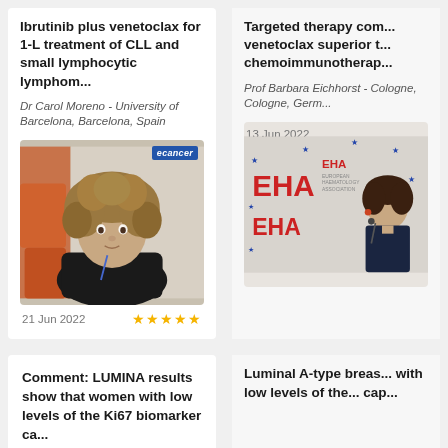Ibrutinib plus venetoclax for 1-L treatment of CLL and small lymphocytic lymphom...
Dr Carol Moreno - University of Barcelona, Barcelona, Spain
[Figure (photo): Interview thumbnail photo of a woman with curly hair sitting in front of orange chairs, with ecancer badge overlay]
21 Jun 2022
Targeted therapy com... venetoclax superior t... chemoimmunotherap...
Prof Barbara Eichhorst - Cologne, Cologne, Germ...
[Figure (photo): EHA congress presentation photo showing a woman speaking at podium with EHA European Haematology Association banner visible]
13 Jun 2022
Comment: LUMINA results show that women with low levels of the Ki67 biomarker ca...
Luminal A-type breas... with low levels of the... cap...